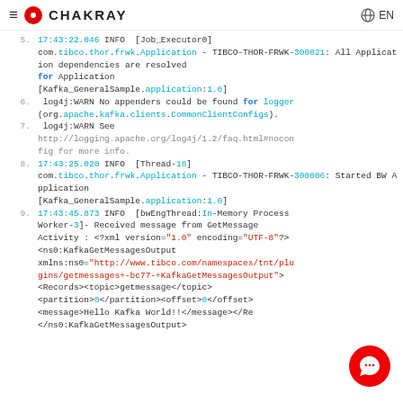≡ ● CHAKRAY  🌐 EN
5.  17:43:22.046 INFO  [Job_Executor0] com.tibco.thor.frwk.Application - TIBCO-THOR-FRWK-300021: All Application dependencies are resolved for Application [Kafka_GeneralSample.application:1.0]
6.  log4j:WARN No appenders could be found for logger (org.apache.kafka.clients.CommonClientConfigs).
7.  log4j:WARN See http://logging.apache.org/log4j/1.2/faq.html#noconfig for more info.
8.  17:43:25.020 INFO  [Thread-18] com.tibco.thor.frwk.Application - TIBCO-THOR-FRWK-300006: Started BW Application [Kafka_GeneralSample.application:1.0]
9.  17:43:45.873 INFO  [bwEngThread:In-Memory Process Worker-3]- Received message from GetMessage Activity : <?xml version="1.0" encoding="UTF-8"?> <ns0:KafkaGetMessagesOutput xmlns:ns0="http://www.tibco.com/namespaces/tnt/plugins/getmessages+-bc77-+KafkaGetMessagesOutput"> <Records><topic>getmessage</topic> <partition>0</partition><offset>0</offset> <message>Hello Kafka World!!</message></Re </ns0:KafkaGetMessagesOutput>